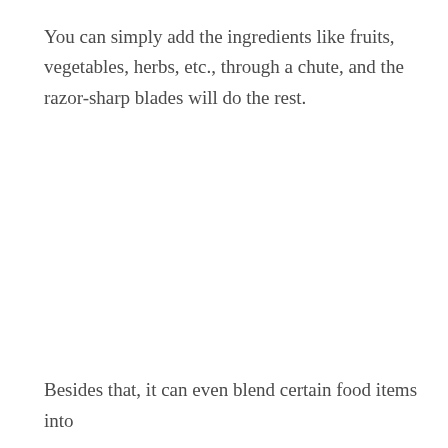You can simply add the ingredients like fruits, vegetables, herbs, etc., through a chute, and the razor-sharp blades will do the rest.
Besides that, it can even blend certain food items into